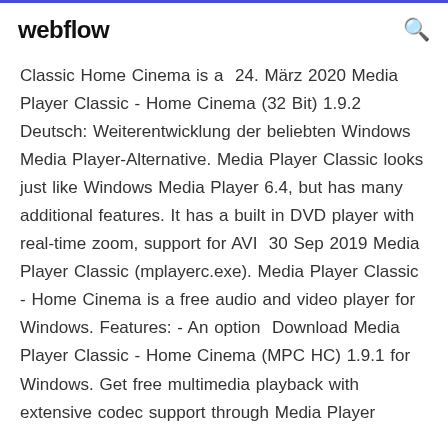webflow
Classic Home Cinema is a  24. März 2020 Media Player Classic - Home Cinema (32 Bit) 1.9.2 Deutsch: Weiterentwicklung der beliebten Windows Media Player-Alternative. Media Player Classic looks just like Windows Media Player 6.4, but has many additional features. It has a built in DVD player with real-time zoom, support for AVI  30 Sep 2019 Media Player Classic (mplayerc.exe). Media Player Classic - Home Cinema is a free audio and video player for Windows. Features: - An option  Download Media Player Classic - Home Cinema (MPC HC) 1.9.1 for Windows. Get free multimedia playback with extensive codec support through Media Player